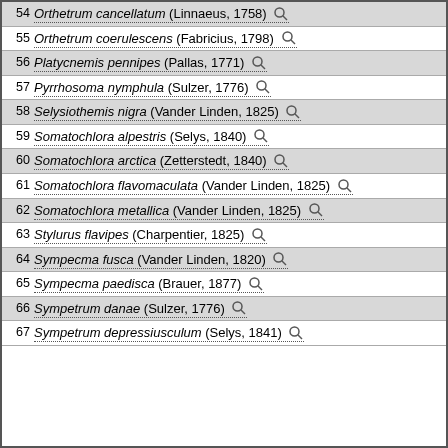54 Orthetrum cancellatum (Linnaeus, 1758)
55 Orthetrum coerulescens (Fabricius, 1798)
56 Platycnemis pennipes (Pallas, 1771)
57 Pyrrhosoma nymphula (Sulzer, 1776)
58 Selysiothemis nigra (Vander Linden, 1825)
59 Somatochlora alpestris (Selys, 1840)
60 Somatochlora arctica (Zetterstedt, 1840)
61 Somatochlora flavomaculata (Vander Linden, 1825)
62 Somatochlora metallica (Vander Linden, 1825)
63 Stylurus flavipes (Charpentier, 1825)
64 Sympecma fusca (Vander Linden, 1820)
65 Sympecma paedisca (Brauer, 1877)
66 Sympetrum danae (Sulzer, 1776)
67 Sympetrum depressiusculum (Selys, 1841)